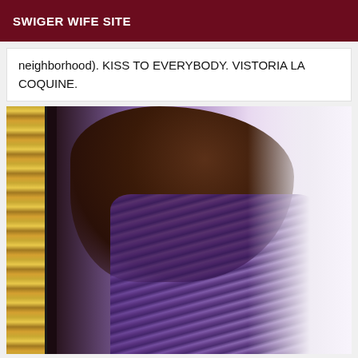SWIGER WIFE SITE
neighborhood). KISS TO EVERYBODY. VISTORIA LA COQUINE.
[Figure (photo): A woman with long dark wavy hair wearing a purple striped dress, photographed from behind next to an ornate gold mirror frame]